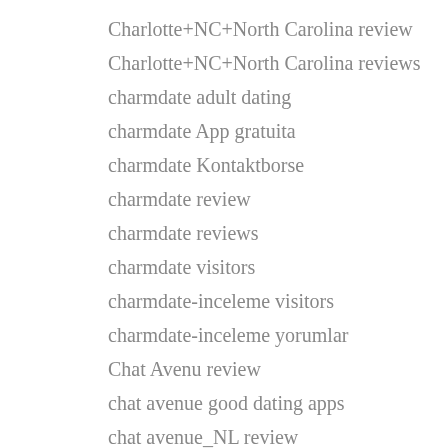Charlotte+NC+North Carolina review
Charlotte+NC+North Carolina reviews
charmdate adult dating
charmdate App gratuita
charmdate Kontaktborse
charmdate review
charmdate reviews
charmdate visitors
charmdate-inceleme visitors
charmdate-inceleme yorumlar
Chat Avenu review
chat avenue good dating apps
chat avenue_NL review
chat hour cs review
chat hour fr review